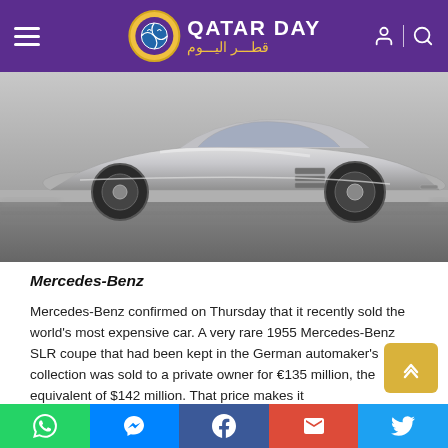Qatar Day - قطر اليوم
[Figure (photo): Side profile of a silver 1955 Mercedes-Benz SLR coupe driving on a track/road, motion blur on background]
Mercedes-Benz
Mercedes-Benz confirmed on Thursday that it recently sold the world's most expensive car. A very rare 1955 Mercedes-Benz SLR coupe that had been kept in the German automaker's collection was sold to a private owner for €135 million, the equivalent of $142 million. That price makes it
WhatsApp | Messenger | Facebook | Email | Twitter social share bar